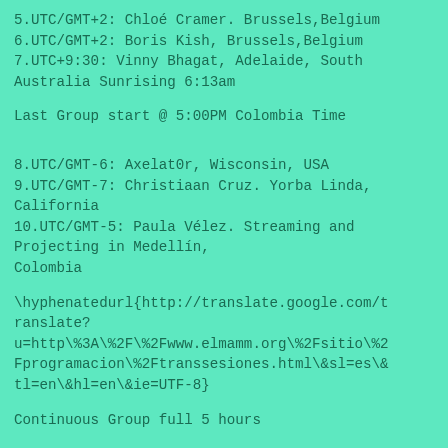5.UTC/GMT+2: Chloé Cramer. Brussels,Belgium
6.UTC/GMT+2: Boris Kish, Brussels,Belgium
7.UTC+9:30: Vinny Bhagat, Adelaide, South Australia Sunrising 6:13am
Last Group start @ 5:00PM Colombia Time
8.UTC/GMT-6: Axelat0r, Wisconsin, USA
9.UTC/GMT-7: Christiaan Cruz. Yorba Linda, California
10.UTC/GMT-5: Paula Vélez. Streaming and Projecting in Medellín, Colombia
\hyphenatedurl{http://translate.google.com/translate?
u=http\%3A\%2F\%2Fwww.elmamm.org\%2Fsitio\%2Fprogramacion\%2Ftranssesiones.html\&sl=es\&tl=en\&hl=en\&ie=UTF-8}
Continuous Group full 5 hours